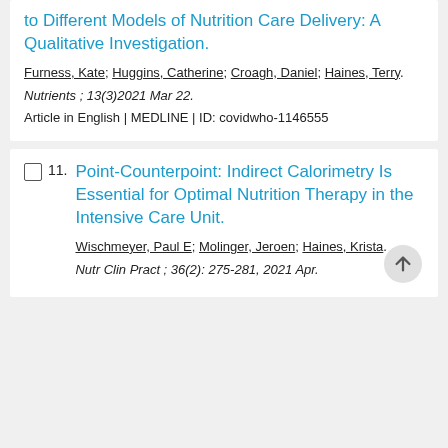to Different Models of Nutrition Care Delivery: A Qualitative Investigation.
Furness, Kate; Huggins, Catherine; Croagh, Daniel; Haines, Terry.
Nutrients ; 13(3)2021 Mar 22.
Article in English | MEDLINE | ID: covidwho-1146555
Point-Counterpoint: Indirect Calorimetry Is Essential for Optimal Nutrition Therapy in the Intensive Care Unit.
Wischmeyer, Paul E; Molinger, Jeroen; Haines, Krista.
Nutr Clin Pract ; 36(2): 275-281, 2021 Apr.